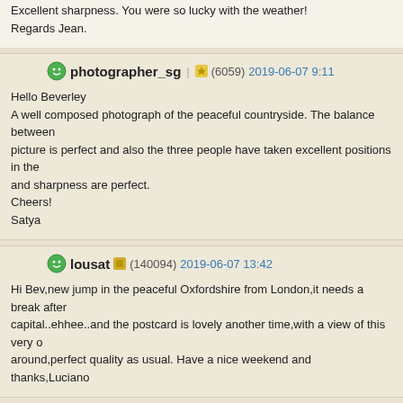Excellent sharpness. You were so lucky with the weather!
Regards Jean.
photographer_sg (6059) 2019-06-07 9:11
Hello Beverley
A well composed photograph of the peaceful countryside. The balance between picture is perfect and also the three people have taken excellent positions in the and sharpness are perfect.
Cheers!
Satya
lousat (140094) 2019-06-07 13:42
Hi Bev,new jump in the peaceful Oxfordshire from London,it needs a break after capital..ehhee..and the postcard is lovely another time,with a view of this very o around,perfect quality as usual. Have a nice weekend and thanks,Luciano
Nicou (193814) 2019-06-07 15:46
Hello
Charmant petit pont de pierre petite passerelle qui permet de traversent et ces maisons en fond et quel beau ciel fantastique ensemble.